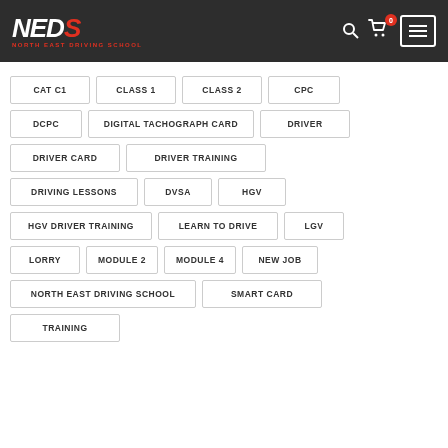[Figure (logo): NEDS North East Driving School logo with navigation icons]
CAT C1
CLASS 1
CLASS 2
CPC
DCPC
DIGITAL TACHOGRAPH CARD
DRIVER
DRIVER CARD
DRIVER TRAINING
DRIVING LESSONS
DVSA
HGV
HGV DRIVER TRAINING
LEARN TO DRIVE
LGV
LORRY
MODULE 2
MODULE 4
NEW JOB
NORTH EAST DRIVING SCHOOL
SMART CARD
TRAINING